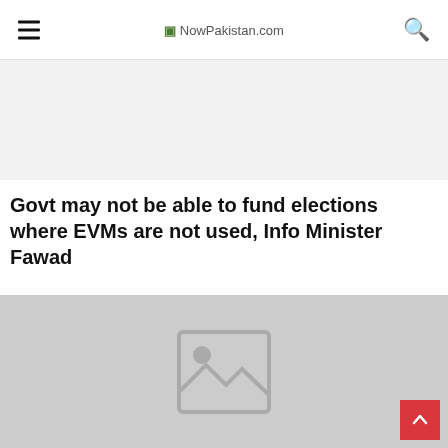NowPakistan.com
[Figure (other): Advertisement banner placeholder with light grey background]
Govt may not be able to fund elections where EVMs are not used, Info Minister Fawad
[Figure (photo): Placeholder image with grey background and image icon]